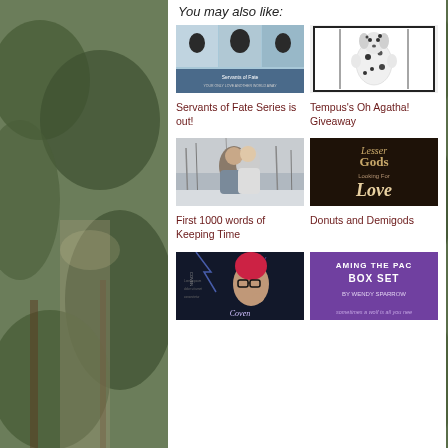You may also like:
[Figure (illustration): Book cover for Servants of Fate Series - collage of romantic couples with blue winter tones]
[Figure (illustration): Book cover for Tempus's Oh Agatha - dalmatian dog standing upright in black and white photo]
Servants of Fate Series is out!
Tempus's Oh Agatha! Giveaway
[Figure (illustration): Book cover for First 1000 words of Keeping Time - couple kissing in snow with winter trees]
[Figure (illustration): Book cover for Donuts and Demigods - Lesser Gods Looking For Love book cover dark tones]
First 1000 words of Keeping Time
Donuts and Demigods
[Figure (illustration): Book cover featuring a person with glasses - Coven related dark blue cover]
[Figure (illustration): Taming the Pack Box Set by Wendy Sparrow - purple background with text]
sometimes a wolf is all you nee